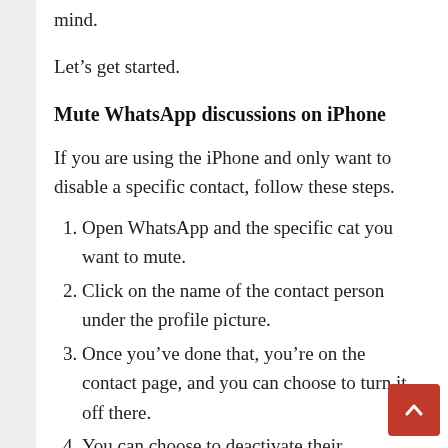mind.
Let’s get started.
Mute WhatsApp discussions on iPhone
If you are using the iPhone and only want to disable a specific contact, follow these steps.
Open WhatsApp and the specific cat you want to mute.
Click on the name of the contact person under the profile picture.
Once you’ve done that, you’re on the contact page, and you can choose to turn it off there.
You can choose to deactivate their notifications during certain periods,